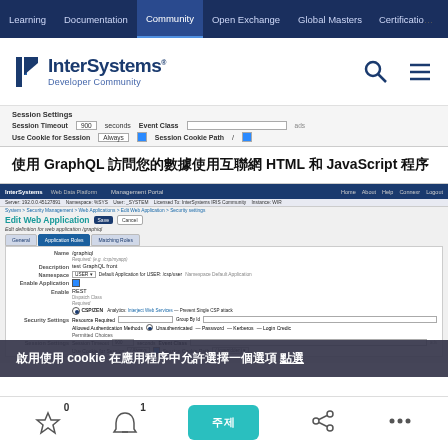Learning | Documentation | Community | Open Exchange | Global Masters | Certification
[Figure (screenshot): InterSystems Developer Community website header with logo and navigation icons]
[Figure (screenshot): Session Settings strip showing Session Timeout, Event Class, Use Cookie for Session, Session Cookie Path fields]
使用 GraphQL 訪問您的數據使用互聯網 HTML 和 JavaScript 程序
[Figure (screenshot): InterSystems Management Portal - Edit Web Application page showing application settings for /graphql including Name, Description, Namespace, Enable Application, Enable REST, CSP/ZEN, Security Settings with Resource Required, Allowed Authentication Methods, Session Settings with Session Timeout and Use Cookie for Session]
啟用使用 cookie 在應用程序中允許選擇一個選項 點選
0 stars | 1 notification | 主題 button | share | more options